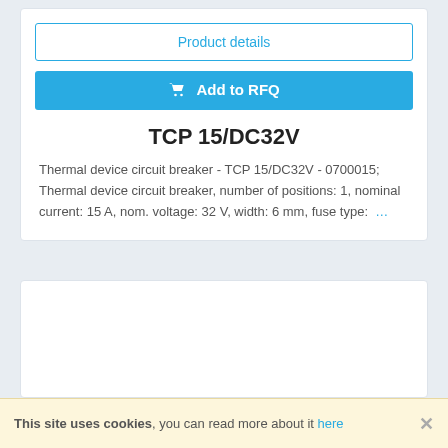Product details
Add to RFQ
TCP 15/DC32V
Thermal device circuit breaker - TCP 15/DC32V - 0700015; Thermal device circuit breaker, number of positions: 1, nominal current: 15 A, nom. voltage: 32 V, width: 6 mm, fuse type:  …
This site uses cookies, you can read more about it here